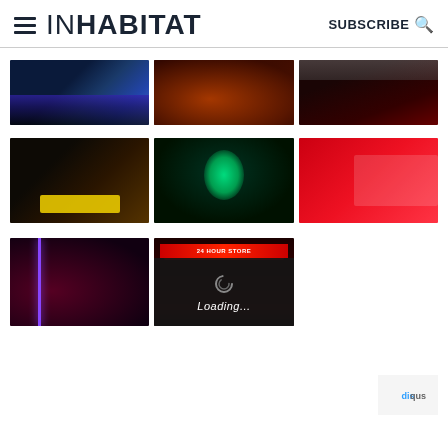INHABITAT | SUBSCRIBE
[Figure (photo): Grid of 8 thumbnail images on dark backgrounds showing futuristic/tech scenes: cyberpunk corridors, thermal face scan, retail tech, 24-hour store, and loading overlay]
[Figure (logo): Disqus logo placeholder bottom right]